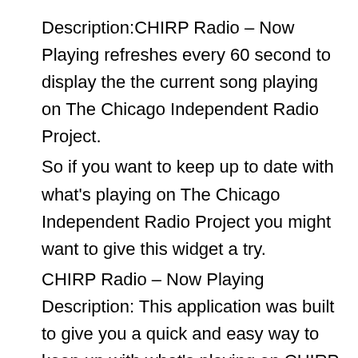Description:CHIRP Radio – Now Playing refreshes every 60 second to display the the current song playing on The Chicago Independent Radio Project.
So if you want to keep up to date with what's playing on The Chicago Independent Radio Project you might want to give this widget a try.
CHIRP Radio – Now Playing Description: This application was built to give you a quick and easy way to keep up with what's playing on CHIRP radio. This application will pull the music information from the